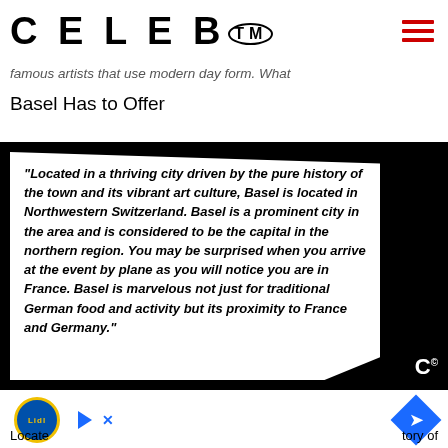CELEB™
famous artists that use modern day form. What
Basel Has to Offer
[Figure (other): Black and white quote box with bold italic text reading: "Located in a thriving city driven by the pure history of the town and its vibrant art culture, Basel is located in Northwestern Switzerland. Basel is a prominent city in the area and is considered to be the capital in the northern region. You may be surprised when you arrive at the event by plane as you will notice you are in France. Basel is marvelous not just for traditional German food and activity but its proximity to France and Germany." with a C© logo at bottom right.]
[Figure (other): Advertisement area with Lidl logo and navigation arrow icon, and play/X buttons.]
Locate                                                                            tory of